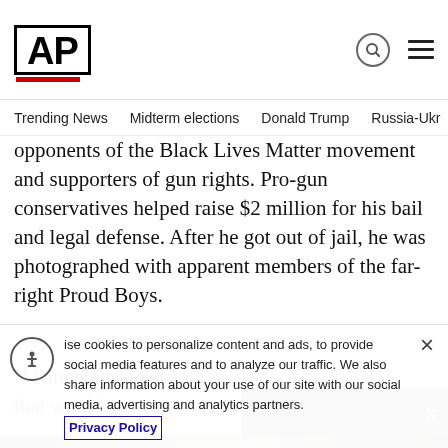AP
Trending News  Midterm elections  Donald Trump  Russia-Ukr
opponents of the Black Lives Matter movement and supporters of gun rights. Pro-gun conservatives helped raise $2 million for his bail and legal defense. After he got out of jail, he was photographed with apparent members of the far-right Proud Boys.
If Rittenhouse gets off, that would send an ominous message to Black America, Justin B
[Figure (photo): Photo strip showing protest scene and embedded video overlay of man being interviewed, with playback controls]
use cookies to personalize content and ads, to provide social media features and to analyze our traffic. We also share information about your use of our site with our social media, advertising and analytics partners.
Privacy Policy